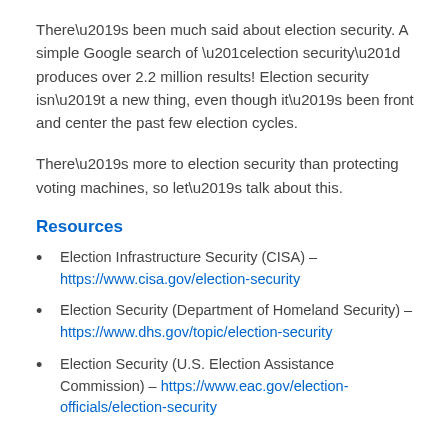There’s been much said about election security. A simple Google search of “election security” produces over 2.2 million results! Election security isn’t a new thing, even though it’s been front and center the past few election cycles.
There’s more to election security than protecting voting machines, so let’s talk about this.
Resources
Election Infrastructure Security (CISA) – https://www.cisa.gov/election-security
Election Security (Department of Homeland Security) – https://www.dhs.gov/topic/election-security
Election Security (U.S. Election Assistance Commission) – https://www.eac.gov/election-officials/election-security